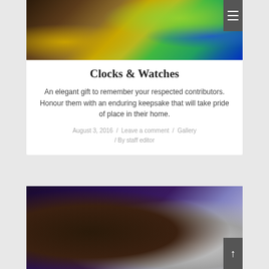[Figure (photo): A colorful photo showing various items including gold objects, green neon item, and blue fabric — top portion of a clocks & watches article card]
Clocks & Watches
An elegant gift to remember your respected contributors. Honour them with an enduring keepsake that will take pride of place in their home.
August 3, 2016 / Leave a comment / Gallery / By staff editor
[Figure (photo): A photo showing Balmain branded pen set in a dark case alongside silver pens against a purple background — bottom article card image]